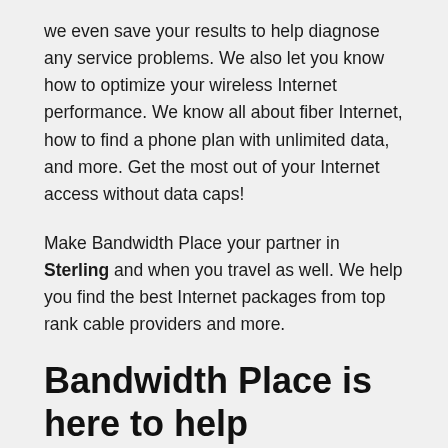we even save your results to help diagnose any service problems. We also let you know how to optimize your wireless Internet performance. We know all about fiber Internet, how to find a phone plan with unlimited data, and more. Get the most out of your Internet access without data caps!
Make Bandwidth Place your partner in Sterling and when you travel as well. We help you find the best Internet packages from top rank cable providers and more.
Bandwidth Place is here to help
Need help figuring out how to choose the best internet service provider in {state.name} or have further questions? Bandwidth Place can help every step of the way. We're